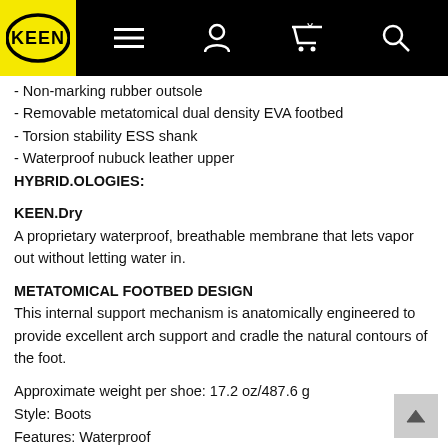[Figure (logo): KEEN brand logo in black oval on yellow background]
- Non-marking rubber outsole
- Removable metatomical dual density EVA footbed
- Torsion stability ESS shank
- Waterproof nubuck leather upper
HYBRID.OLOGIES:
KEEN.Dry
A proprietary waterproof, breathable membrane that lets vapor out without letting water in.
METATOMICAL FOOTBED DESIGN
This internal support mechanism is anatomically engineered to provide excellent arch support and cradle the natural contours of the foot.
Approximate weight per shoe: 17.2 oz/487.6 g
Style: Boots
Features: Waterproof
Gender: Men
Weather: Wet waterproof
Activity: Hiking
Category: Outdoor
Upper: Leather and textile
Lining: KEEN.Dry waterproof breathable membrane